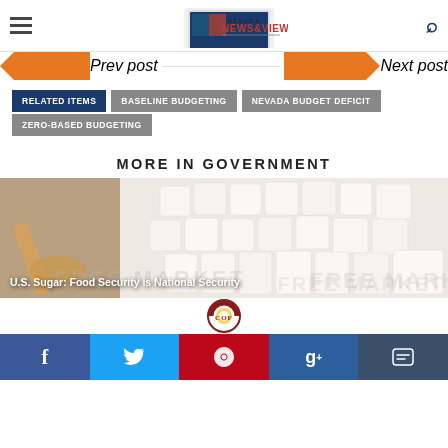[Figure (logo): Nevada News & Views website header with hamburger menu, logo, and search icon]
Prev post | Next post
RELATED ITEMS
BASELINE BUDGETING
NEVADA BUDGET DEFICIT
ZERO-BASED BUDGETING
MORE IN GOVERNMENT
[Figure (photo): Photo of sugar cubes with a wooden scoop on a wooden surface, with caption 'U.S. Sugar: Food Security is National Security' and watermark text 'FREE MARKET']
[Figure (logo): COF (Center on Finance) circular logo in red, gold and maroon]
Social share bar with Facebook, Twitter, Pinterest, Google+, and comment icons